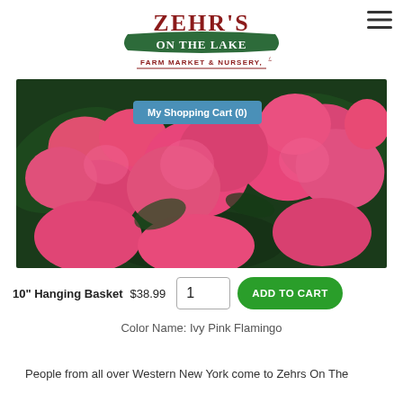[Figure (logo): Zehr's On The Lake Farm Market & Nursery logo — green banner with white serif text]
My Shopping Cart (0)
[Figure (photo): Close-up photo of bright pink ivy geranium flowers (Ivy Pink Flamingo) with green foliage in background]
10" Hanging Basket  $38.99  [1]  ADD TO CART
Color Name: Ivy Pink Flamingo
People from all over Western New York come to Zehrs On The